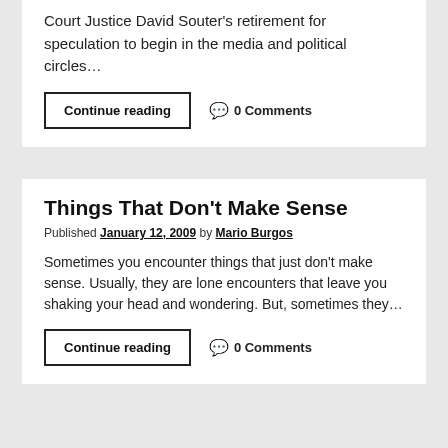Court Justice David Souter's retirement for speculation to begin in the media and political circles…
Continue reading   0 Comments
Things That Don't Make Sense
Published January 12, 2009 by Mario Burgos
Sometimes you encounter things that just don't make sense. Usually, they are lone encounters that leave you shaking your head and wondering. But, sometimes they…
Continue reading   0 Comments